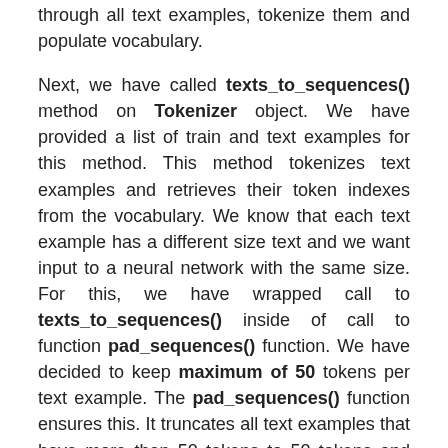through all text examples, tokenize them and populate vocabulary.
Next, we have called texts_to_sequences() method on Tokenizer object. We have provided a list of train and text examples for this method. This method tokenizes text examples and retrieves their token indexes from the vocabulary. We know that each text example has a different size text and we want input to a neural network with the same size. For this, we have wrapped call to texts_to_sequences() inside of call to function pad_sequences() function. We have decided to keep maximum of 50 tokens per text example. The pad_sequences() function ensures this. It truncates all text examples that have more than 50 tokens to 50 tokens and pads all text examples that have less than 50 tokens with 0s to bring them to the length of 50.
Below, we have explained with a simple example how text example is vectorized.